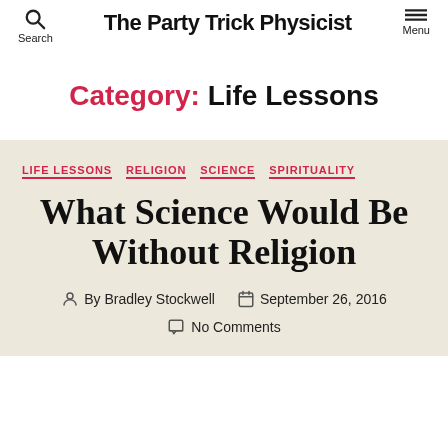The Party Trick Physicist | Search | Menu
Category: Life Lessons
LIFE LESSONS  RELIGION  SCIENCE  SPIRITUALITY
What Science Would Be Without Religion
By Bradley Stockwell  September 26, 2016  No Comments